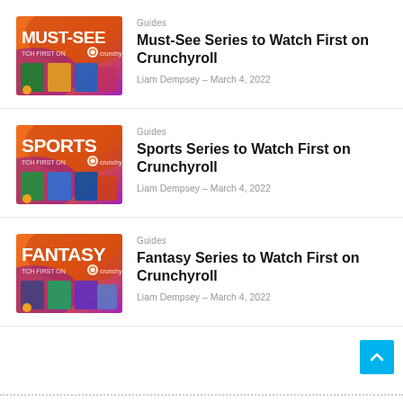[Figure (illustration): Thumbnail for Must-See Series article showing orange/purple gradient background with anime character panels and text MUST-SEE, WATCH FIRST ON Crunchyroll]
Guides
Must-See Series to Watch First on Crunchyroll
Liam Dempsey – March 4, 2022
[Figure (illustration): Thumbnail for Sports Series article showing orange/purple gradient background with anime sports character panels and text SPORTS, WATCH FIRST ON Crunchyroll]
Guides
Sports Series to Watch First on Crunchyroll
Liam Dempsey – March 4, 2022
[Figure (illustration): Thumbnail for Fantasy Series article showing orange/purple gradient background with anime fantasy character panels and text FANTASY, WATCH FIRST ON Crunchyroll]
Guides
Fantasy Series to Watch First on Crunchyroll
Liam Dempsey – March 4, 2022